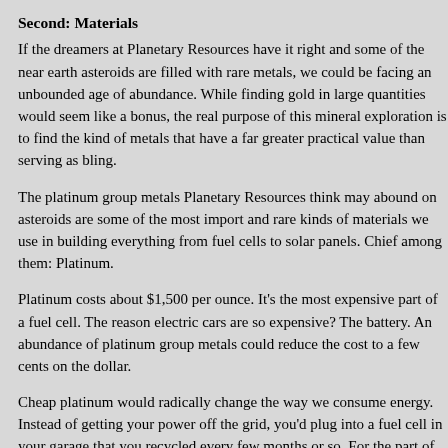Second: Materials
If the dreamers at Planetary Resources have it right and some of the near earth asteroids are filled with rare metals, we could be facing an unbounded age of abundance. While finding gold in large quantities would seem like a bonus, the real purpose of this mineral exploration is to find the kind of metals that have a far greater practical value than serving as bling.
The platinum group metals Planetary Resources think may abound on asteroids are some of the most import and rare kinds of materials we use in building everything from fuel cells to solar panels. Chief among them: Platinum.
Platinum costs about $1,500 per ounce. It's the most expensive part of a fuel cell. The reason electric cars are so expensive? The battery. An abundance of platinum group metals could reduce the cost to a few cents on the dollar.
Cheap platinum would radically change the way we consume energy. Instead of getting your power off the grid, you'd plug into a fuel cell in your garage that you recycled every few months or so. For the part of the world that doesn't have much of a grid, this is a life-changing possibility. Simple things like air-conditioning could save millions of lives a year from malaria.
Third: Energy